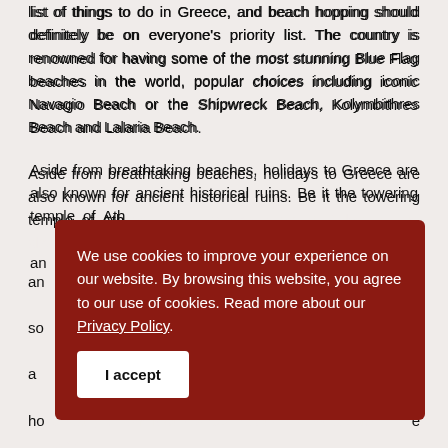list of things to do in Greece, and beach hopping should definitely be on everyone's priority list. The country is renowned for having some of the most stunning Blue Flag beaches in the world, popular choices including iconic Navagio Beach or the Shipwreck Beach, Kolymbithres Beach and Lalaria Beach.

Aside from breathtaking beaches, holidays to Greece are also known for ancient historical ruins. Be it the towering temple of Ath... and ... so ... a ... ho ... ye ... a (g... ... g M... ... n eggplants and bechamel sauce) and tasty Baklava (a desirable
We use cookies to improve your experience on our website. By browsing this website, you agree to our use of cookies. Read more about our Privacy Policy.
I accept